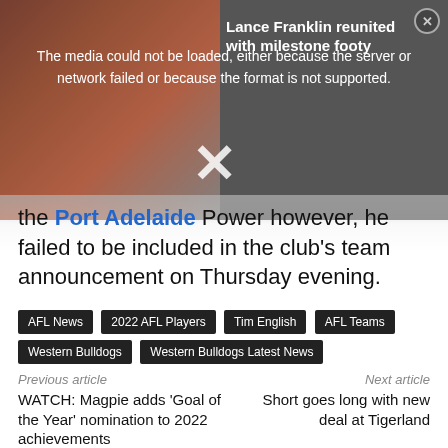[Figure (screenshot): Video player with error overlay showing 'The media could not be loaded, either because the server or network failed or because the format is not supported.' and a video title 'Lance Franklin reunited with milestone footy']
the Port Adelaide Power however, he failed to be included in the club's team announcement on Thursday evening.
AFL News
2022 AFL Players
Tim English
AFL Teams
Western Bulldogs
Western Bulldogs Latest News
Previous article	Next article
WATCH: Magpie adds 'Goal of the Year' nomination to 2022 achievements
Short goes long with new deal at Tigerland